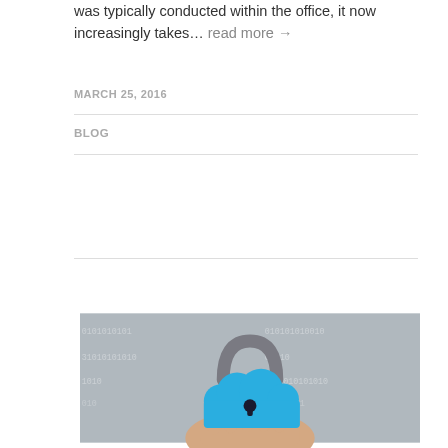was typically conducted within the office, it now increasingly takes… read more →
MARCH 25, 2016
BLOG
[Figure (photo): A hand holding a blue cloud-shaped padlock with a metallic shackle, set against a background of binary code digits (0s and 1s), representing cloud security or cybersecurity concept.]